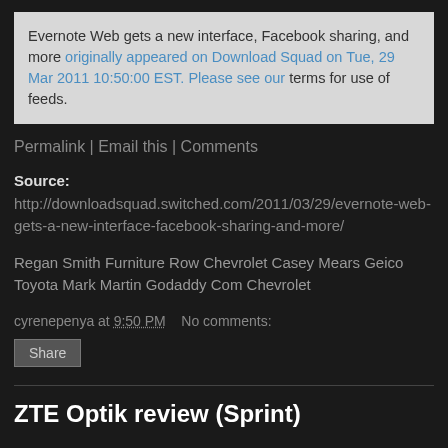Evernote Web gets a new interface, Facebook sharing, and more originally appeared on Download Squad on Tue, 29 Mar 2011 10:50:00 EST. Please see our terms for use of feeds.
Permalink | Email this | Comments
Source:
http://downloadsquad.switched.com/2011/03/29/evernote-web-gets-a-new-interface-facebook-sharing-and-more/
Regan Smith Furniture Row Chevrolet Casey Mears Geico Toyota Mark Martin Godaddy Com Chevrolet
cyrenepenya at 9:50 PM    No comments:
Share
ZTE Optik review (Sprint)